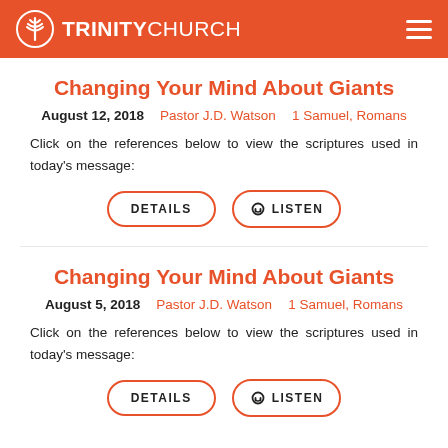TRINITY CHURCH
Changing Your Mind About Giants
August 12, 2018   Pastor J.D. Watson   1 Samuel, Romans
Click on the references below to view the scriptures used in today's message:
Changing Your Mind About Giants
August 5, 2018   Pastor J.D. Watson   1 Samuel, Romans
Click on the references below to view the scriptures used in today's message: